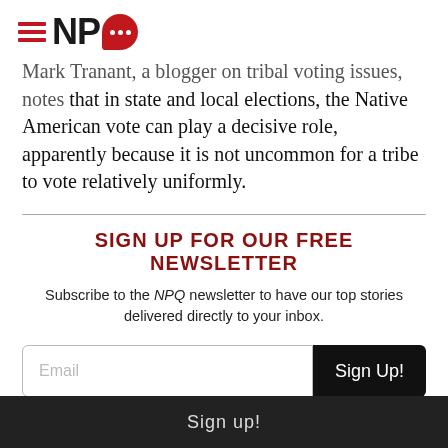NPQ
Mark Tranant, a blogger on tribal voting issues, notes that in state and local elections, the Native American vote can play a decisive role, apparently because it is not uncommon for a tribe to vote relatively uniformly.
SIGN UP FOR OUR FREE NEWSLETTER
Subscribe to the NPQ newsletter to have our top stories delivered directly to your inbox.
Sign up!